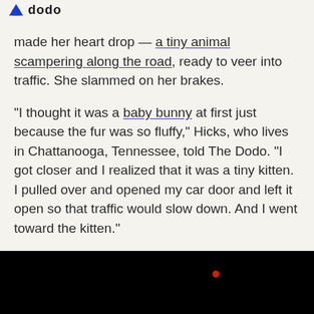dodo
made her heart drop — a tiny animal scampering along the road, ready to veer into traffic. She slammed on her brakes.
“I thought it was a baby bunny at first just because the fur was so fluffy,” Hicks, who lives in Chattanooga, Tennessee, told The Dodo. “I got closer and I realized that it was a tiny kitten. I pulled over and opened my car door and left it open so that traffic would slow down. And I went toward the kitten.”
[Figure (other): Dark video player area with a small red recording dot indicator]